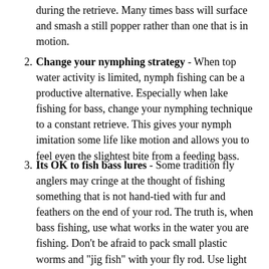during the retrieve. Many times bass will surface and smash a still popper rather than one that is in motion.
Change your nymphing strategy - When top water activity is limited, nymph fishing can be a productive alternative. Especially when lake fishing for bass, change your nymphing technique to a constant retrieve. This gives your nymph imitation some life like motion and allows you to feel even the slightest bite from a feeding bass.
Its OK to fish bass lures - Some tradition fly anglers may cringe at the thought of fishing something that is not hand-tied with fur and feathers on the end of your rod. The truth is, when bass fishing, use what works in the water you are fishing. Don't be afraid to pack small plastic worms and "jig fish" with your fly rod. Use light weight tackle for better casting when fishing